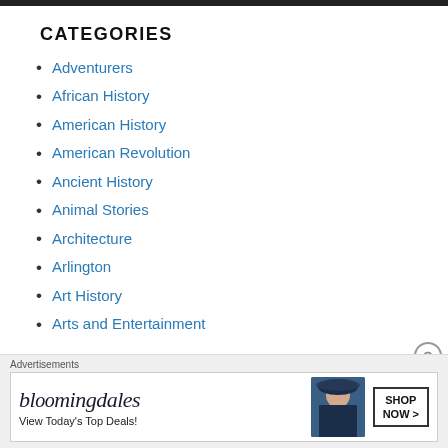CATEGORIES
Adventurers
African History
American History
American Revolution
Ancient History
Animal Stories
Architecture
Arlington
Art History
Arts and Entertainment
Advertisements
[Figure (other): Bloomingdales advertisement banner: 'View Today's Top Deals!' with SHOP NOW > button and woman in hat image]